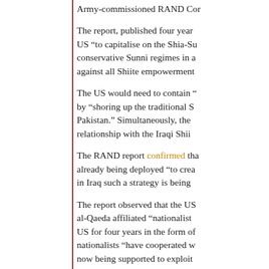Army-commissioned RAND Cor
The report, published four years US “to capitalise on the Shia-Su conservative Sunni regimes in a against all Shiite empowerment
The US would need to contain “ by “shoring up the traditional S Pakistan.” Simultaneously, the relationship with the Iraqi Shii
The RAND report confirmed tha already being deployed “to crea in Iraq such a strategy is being
The report observed that the US al-Qaeda affiliated “nationalist US for four years in the form of nationalists “have cooperated w now being supported to exploit poses to both parties.”